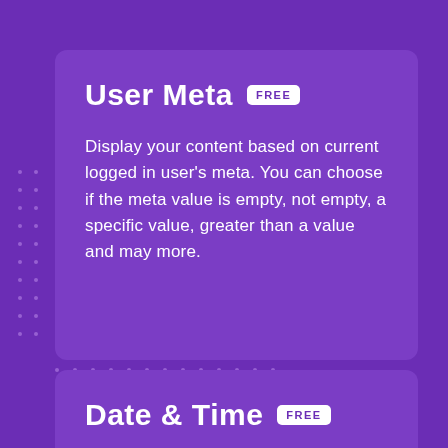User Meta FREE
Display your content based on current logged in user's meta. You can choose if the meta value is empty, not empty, a specific value, greater than a value and may more.
Date & Time FREE
You can define a date interval, a time